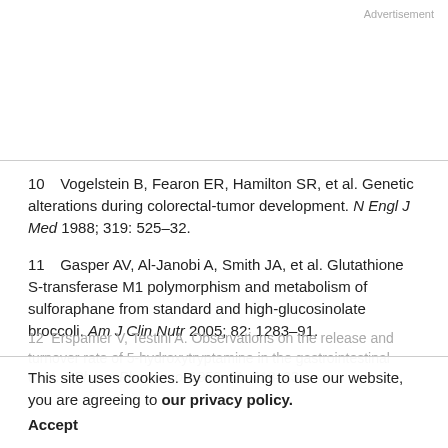Advertisement
10   Vogelstein B, Fearon ER, Hamilton SR, et al. Genetic alterations during colorectal-tumor development. N Engl J Med 1988; 319: 525–32.
11   Gasper AV, Al-Janobi A, Smith JA, et al. Glutathione S-transferase M1 polymorphism and metabolism of sulforaphane from standard and high-glucosinolate broccoli. Am J Clin Nutr 2005; 82: 1283–91.
12   Erspamer V, Testini A. Observations on the release and turnover rate of 5-hydroxytryptamine in the gastrointestinal tract. J Pharm Pharmacol 1959; 11: 618–23.
This site uses cookies. By continuing to use our website, you are agreeing to our privacy policy. Accept